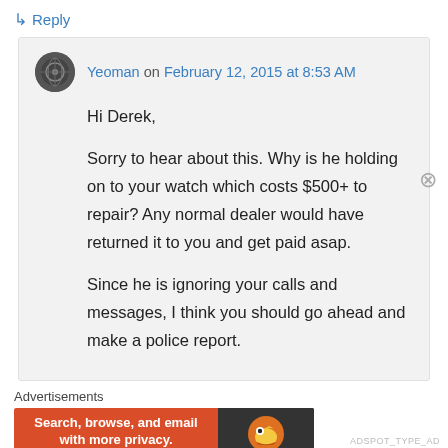↳ Reply
Yeoman on February 12, 2015 at 8:53 AM
Hi Derek,

Sorry to hear about this. Why is he holding on to your watch which costs $500+ to repair? Any normal dealer would have returned it to you and get paid asap.

Since he is ignoring your calls and messages, I think you should go ahead and make a police report.
Advertisements
[Figure (screenshot): DuckDuckGo advertisement banner: 'Search, browse, and email with more privacy. All in One Free App' on orange background with DuckDuckGo logo on dark right panel.]